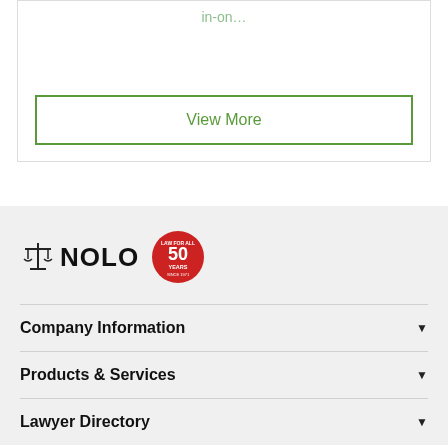in-on...
View More
[Figure (logo): Nolo logo with scales of justice icon and '50 Years' anniversary badge]
Company Information
Products & Services
Lawyer Directory